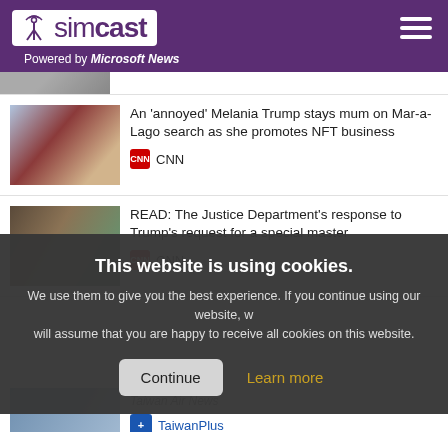simcast — Powered by Microsoft News
[Figure (screenshot): Partial news thumbnail strip at top]
An 'annoyed' Melania Trump stays mum on Mar-a-Lago search as she promotes NFT business — CNN
READ: The Justice Department's response to Trump's request for a special master — CNN
This website is using cookies. We use them to give you the best experience. If you continue using our website, we will assume that you are happy to receive all cookies on this website.
TaiwanPlus
US Navy prevents Iranian attempt to capture American maritime drone in Persian Gulf